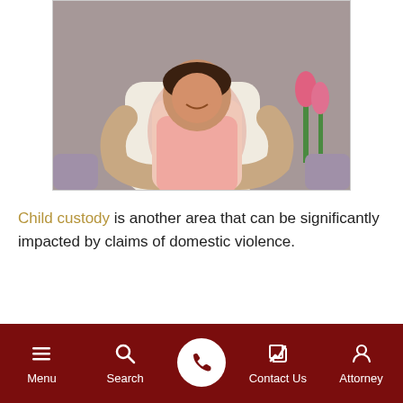[Figure (photo): Photo of a person embracing someone from behind, appearing to be a comforting or protective hug, seated on a couch with pink tulips visible in the background.]
Child custody is another area that can be significantly impacted by claims of domestic violence.
In Tennessee, all decisions involving minor children are analyzed under the scrutinizing lens of the best interest of the child. This legal standard weighs the factors of a case against each of its potential outcomes, and chooses the
Menu | Search | [Call button] | Contact Us | Attorney